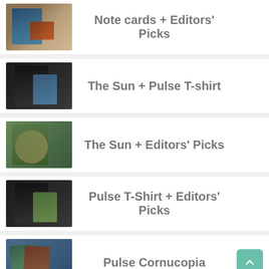Note cards + Editors' Picks
The Sun + Pulse T-shirt
The Sun + Editors' Picks
Pulse T-Shirt + Editors' Picks
Pulse Cornucopia